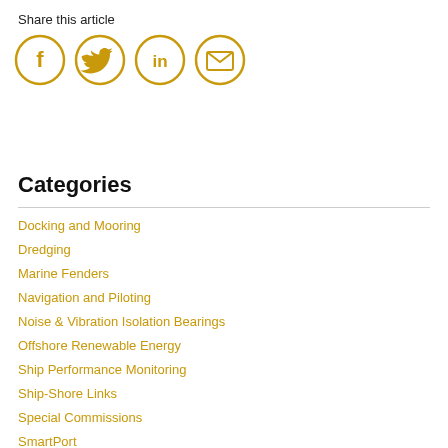Share this article
[Figure (illustration): Four social media share icons in gold/yellow circles: Facebook (f), Twitter (bird), LinkedIn (in), Email (envelope)]
Categories
Docking and Mooring
Dredging
Marine Fenders
Navigation and Piloting
Noise & Vibration Isolation Bearings
Offshore Renewable Energy
Ship Performance Monitoring
Ship-Shore Links
Special Commissions
SmartPort
Surface Buoyancy